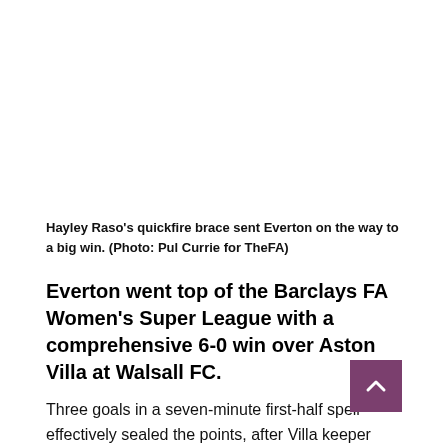Hayley Raso's quickfire brace sent Everton on the way to a big win. (Photo: Pul Currie for TheFA)
Everton went top of the Barclays FA Women's Super League with a comprehensive 6-0 win over Aston Villa at Walsall FC.
Three goals in a seven-minute first-half spell effectively sealed the points, after Villa keeper Lisa Weiss had earlier denied both Lucy Graham and Hayley Raso.
Claire Emslie's cross gave Raso a tap in for the opener